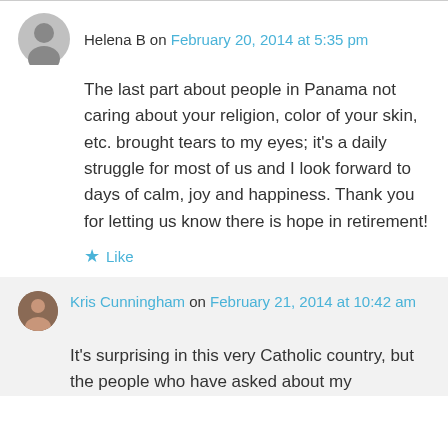Helena B on February 20, 2014 at 5:35 pm
The last part about people in Panama not caring about your religion, color of your skin, etc. brought tears to my eyes; it's a daily struggle for most of us and I look forward to days of calm, joy and happiness. Thank you for letting us know there is hope in retirement!
Like
Kris Cunningham on February 21, 2014 at 10:42 am
It's surprising in this very Catholic country, but the people who have asked about my